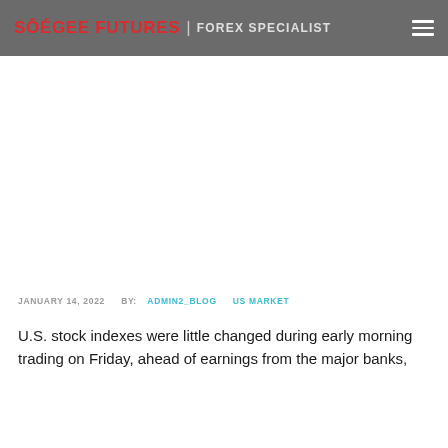SÔÉGEE FUTURES | FOREX SPECIALIST
JANUARY 14, 2022   BY: ADMIN2_BLOG   US MARKET
U.S. stock indexes were little changed during early morning trading on Friday, ahead of earnings from the major banks,